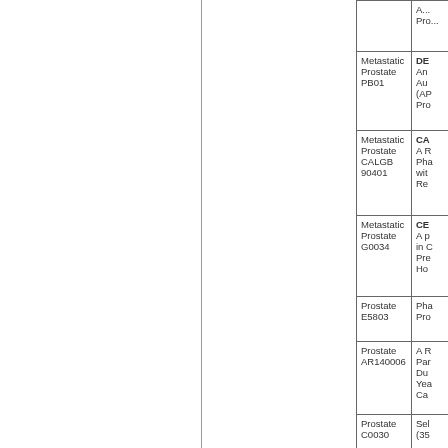| Disease/Study ID | Title (truncated) |
| --- | --- |
|  | A...
Pro... |
| Metastatic Prostate PB01 | DE...
An...
Au...
(AP...
Pro... |
| Metastatic Prostate CALGB 90401 | CA...
A R...
Pha...
wit...
Re... |
| Metastatic Prostate G0034 | CE...
A p...
in C...
Pre...
Ho... |
| Prostate E5803 | Pha...
Pro... |
| Prostate AR140006 | A R...
Par...
Du...
Yea...
Ca... |
| Prostate C0030 | Sel...
(35... |